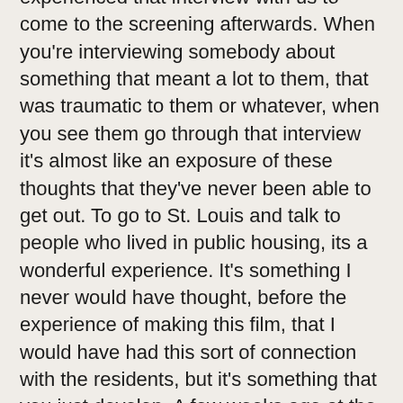experienced that interview with us to come to the screening afterwards. When you're interviewing somebody about something that meant a lot to them, that was traumatic to them or whatever, when you see them go through that interview it's almost like an exposure of these thoughts that they've never been able to get out. To go to St. Louis and talk to people who lived in public housing, its a wonderful experience. It's something I never would have thought, before the experience of making this film, that I would have had this sort of connection with the residents, but it's something that you just develop. A few weeks ago at the Los Angeles Film Festival there were a couple people from Pruitt-Igoe, and they just came up to us afterward and said, thank you for making this. When you have a historical subject like this that is so iconic, the meaning of it tends to get flattened often. People forget that the people who lived there often lived very normal lives. It's often discussed as something with deviant residents, or that all the residents there were criminals. That's something that I think a lot of the people who lived